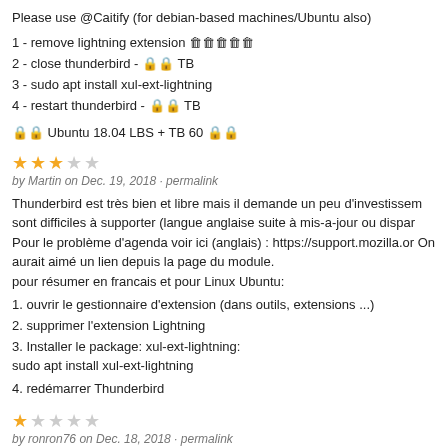Please use @Caitify (for debian-based machines/Ubuntu also)
1 - remove lightning extension 🗑🗑🗑🗑🗑
2 - close thunderbird - 🔒 TB
3 - sudo apt install xul-ext-lightning
4 - restart thunderbird - 🔒 TB
🔒 Ubuntu 18.04 LBS + TB 60 🔒
★★★☆☆ by Martin on Dec. 19, 2018 · permalink
Thunderbird est très bien et libre mais il demande un peu d'investissem sont difficiles à supporter (langue anglaise suite à mis-a-jour ou dispar Pour le problème d'agenda voir ici (anglais) : https://support.mozilla.or On aurait aimé un lien depuis la page du module. pour résumer en francais et pour Linux Ubuntu:
1. ouvrir le gestionnaire d'extension (dans outils, extensions ...)
2. supprimer l'extension Lightning
3. Installer le package: xul-ext-lightning:
sudo apt install xul-ext-lightning
4. redémarrer Thunderbird
★☆☆☆☆ by ronron76 on Dec. 18, 2018 · permalink